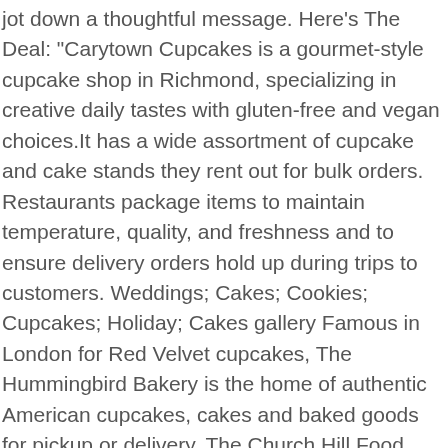jot down a thoughtful message. Here's The Deal: "Carytown Cupcakes is a gourmet-style cupcake shop in Richmond, specializing in creative daily tastes with gluten-free and vegan choices.It has a wide assortment of cupcake and cake stands they rent out for bulk orders. Restaurants package items to maintain temperature, quality, and freshness and to ensure delivery orders hold up during trips to customers. Weddings; Cakes; Cookies; Cupcakes; Holiday; Cakes gallery Famous in London for Red Velvet cupcakes, The Hummingbird Bakery is the home of authentic American cupcakes, cakes and baked goods for pickup or delivery. The Church Hill Food Tour by River City Food Tours is a great way to explore the food and history of Richmond's oldest neighborhood (including its bakeries), so we recommend you join a tour to try tasty dishes, meet new people, and see Church Hill like an insider! Small Dessert Menu. $8.95 1450 Calories Layers of Rich Chocolate Cake and Fudge Frosting . We specialize in Wedding cakes, Decorated Cakes, Pastries, Pies, Cookies, Breads, Donuts, and Danish. Head5353 – Richmond,